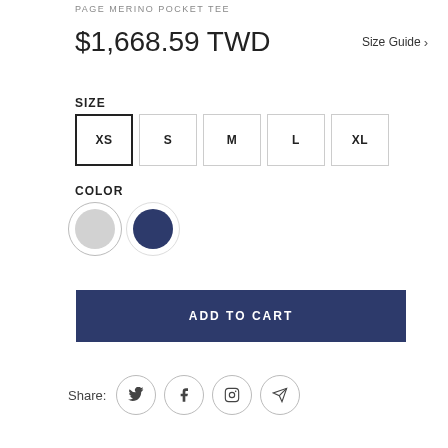PAGE MERINO POCKET TEE
$1,668.59 TWD
Size Guide >
SIZE
XS  S  M  L  XL
COLOR
[Figure (other): Two color swatches: light grey (selected) and navy blue circles]
ADD TO CART
Share: